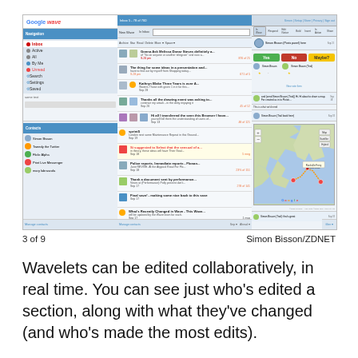[Figure (screenshot): Google Wave interface showing left navigation panel, middle wave list panel with multiple wave threads and timestamps, and right wave detail panel showing a voting widget with Yes/No/Maybe buttons and a Google Map embedded in a wave conversation.]
3 of 9	Simon Bisson/ZDNET
Wavelets can be edited collaboratively, in real time. You can see just who's edited a section, along with what they've changed (and who's made the most edits).